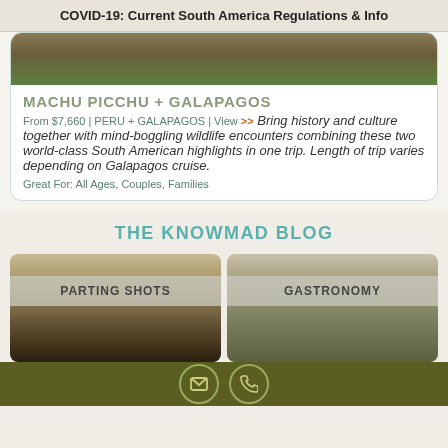COVID-19: Current South America Regulations & Info
MACHU PICCHU + GALAPAGOS
From $7,660 | PERU + GALAPAGOS | View >> Bring history and culture together with mind-boggling wildlife encounters combining these two world-class South American highlights in one trip. Length of trip varies depending on Galapagos cruise.
Great For: All Ages, Couples, Families
THE KNOWMAD BLOG
[Figure (photo): Blog card: Parting Shots - photo of people outdoors]
[Figure (photo): Blog card: Gastronomy - photo of couple in scenic landscape]